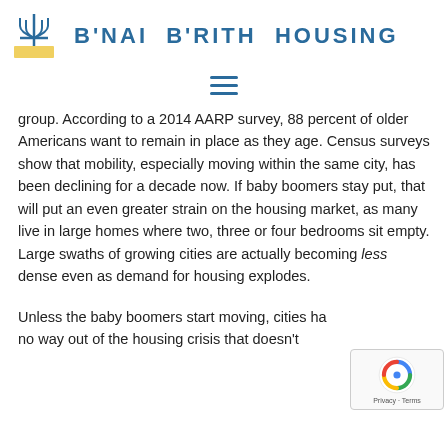[Figure (logo): B'nai B'rith Housing logo with menorah and yellow base, followed by organization name in teal/blue bold uppercase letters]
[Figure (other): Hamburger menu icon (three horizontal lines) in teal/blue]
group. According to a 2014 AARP survey, 88 percent of older Americans want to remain in place as they age. Census surveys show that mobility, especially moving within the same city, has been declining for a decade now. If baby boomers stay put, that will put an even greater strain on the housing market, as many live in large homes where two, three or four bedrooms sit empty. Large swaths of growing cities are actually becoming less dense even as demand for housing explodes.
Unless the baby boomers start moving, cities have no way out of the housing crisis that doesn't